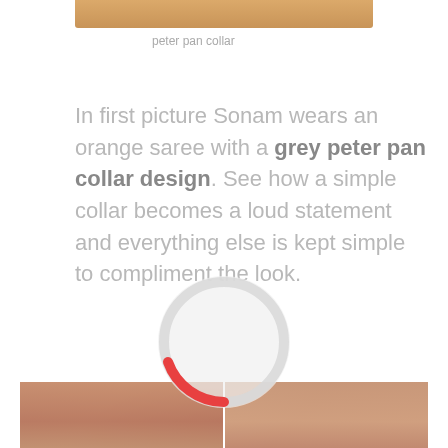[Figure (photo): Partial bottom edge of a photo showing an orange/warm-toned fashion image, cropped at top of page]
peter pan collar
In first picture Sonam wears an orange saree with a grey peter pan collar design. See how a simple collar becomes a loud statement and everything else is kept simple to compliment the look.
[Figure (photo): Two side-by-side photos of Sonam wearing a pink/red saree with collar design, shown full length on left and close-up on right, with a loading spinner circle overlay in the center]